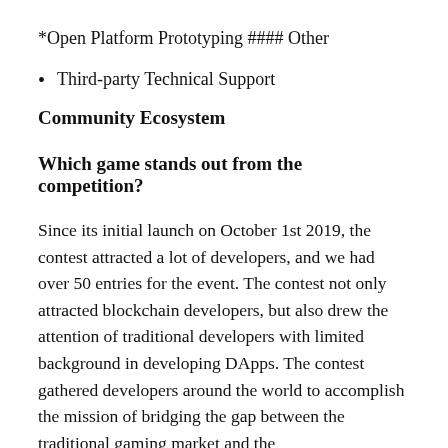*Open Platform Prototyping
#### Other
Third-party Technical Support
Community Ecosystem
Which game stands out from the competition?
Since its initial launch on October 1st 2019, the contest attracted a lot of developers, and we had over 50 entries for the event. The contest not only attracted blockchain developers, but also drew the attention of traditional developers with limited background in developing DApps. The contest gathered developers around the world to accomplish the mission of bridging the gap between the traditional gaming market and the blockchain gaming market.